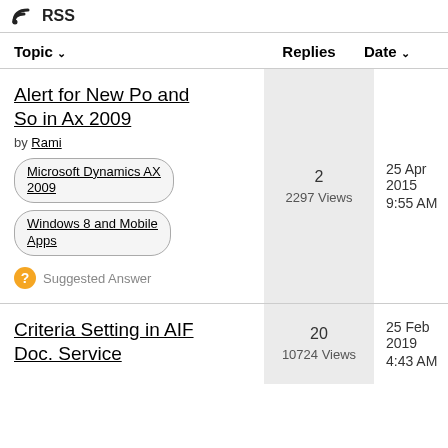RSS
| Topic | Replies | Date |
| --- | --- | --- |
| Alert for New Po and So in Ax 2009 by Rami | Microsoft Dynamics AX 2009 | Windows 8 and Mobile Apps | Suggested Answer | 2
2297 Views | 25 Apr 2015
9:55 AM |
| Criteria Setting in AIF Doc. Service | 20
10724 Views | 25 Feb 2019
4:43 AM |